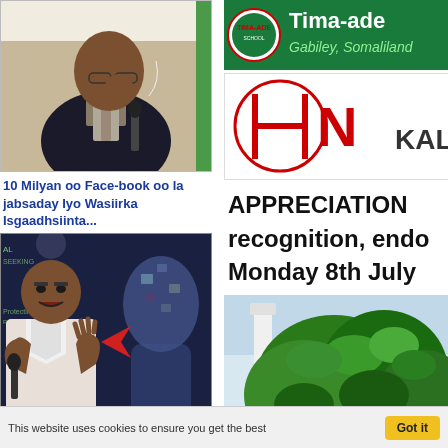[Figure (photo): Man in suit speaking into microphone, adjusting glasses]
10 Milyan oo Face-book oo la jabsaday Iyo Wasiirka Isgaadhsiinta...
[Figure (photo): Man gesturing in front of cyber/digital background with arrow and silhouette]
Fadeexadaha Siyaasiga Somaliland & Fool-xumooyinka Shalay Iyo M...
[Figure (photo): Tima-ade banner with logo, Gabiley, Somaliland]
[Figure (logo): HN logo with text KAL]
APPRECIATION recognition, endo Monday 8th July
[Figure (photo): Outdoor photo with green plants/foliage]
This website uses cookies to ensure you get the best